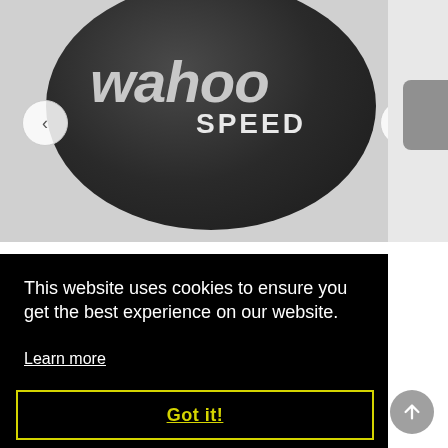[Figure (photo): Close-up photo of a Wahoo Speed sensor — a dark oval/puck-shaped cycling speed sensor with 'wahoo' in large italic grey text and 'SPEED' in bold grey text below. Navigation arrows (left and right) are visible on either side of the image.]
This website uses cookies to ensure you get the best experience on our website.
Learn more
Got it!